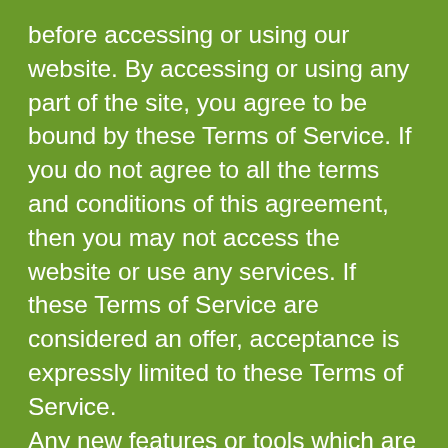before accessing or using our website. By accessing or using any part of the site, you agree to be bound by these Terms of Service. If you do not agree to all the terms and conditions of this agreement, then you may not access the website or use any services. If these Terms of Service are considered an offer, acceptance is expressly limited to these Terms of Service.
Any new features or tools which are added to the current store shall also be subject to the Terms of Service. You can review the most current version of the Terms of Service at any time on this page. We reserve the right to update, change or replace any part of these Terms of Service by posting updates and/or changes to our website. It is your responsibility to check this page periodically for changes. Your continued use of or access to the website following the posting of any